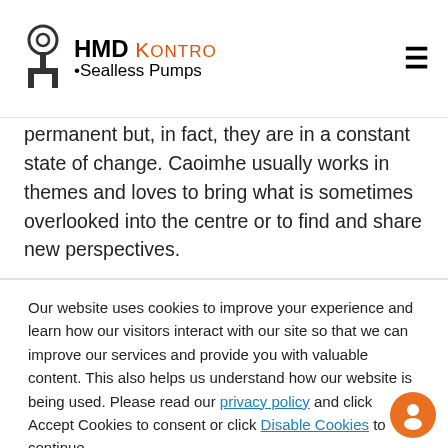HMD Kontro Sealless Pumps
permanent but, in fact, they are in a constant state of change. Caoimhe usually works in themes and loves to bring what is sometimes overlooked into the centre or to find and share new perspectives.
Our website uses cookies to improve your experience and learn how our visitors interact with our site so that we can improve our services and provide you with valuable content. This also helps us understand how our website is being used. Please read our privacy policy and click Accept Cookies to consent or click Disable Cookies to continue.
Accept Cookies